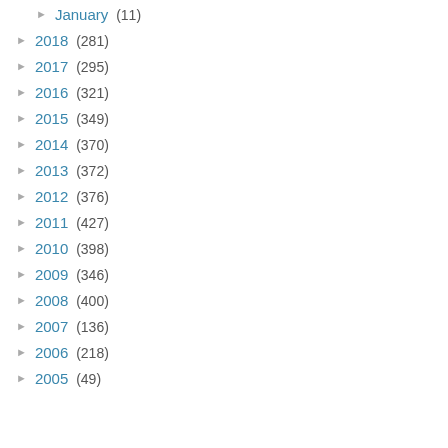► January (11)
► 2018 (281)
► 2017 (295)
► 2016 (321)
► 2015 (349)
► 2014 (370)
► 2013 (372)
► 2012 (376)
► 2011 (427)
► 2010 (398)
► 2009 (346)
► 2008 (400)
► 2007 (136)
► 2006 (218)
► 2005 (49)